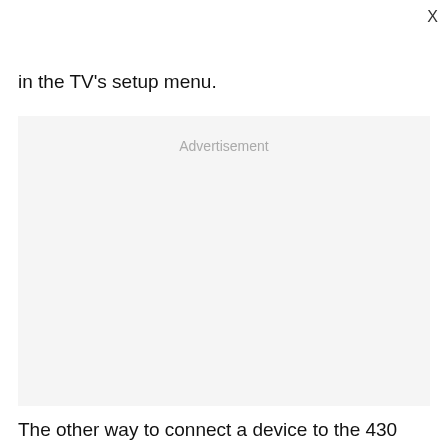X
in the TV's setup menu.
[Figure (other): Advertisement placeholder box with light gray background and 'Advertisement' label text]
The other way to connect a device to the 430